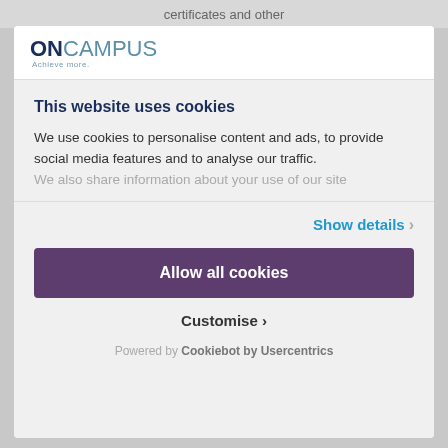certificates and other
[Figure (logo): ONCAMPUS logo with tagline 'Achieve more.']
This website uses cookies
We use cookies to personalise content and ads, to provide social media features and to analyse our traffic. We also share information about your use of our site
Show details ›
Allow all cookies
Customise ›
Powered by Cookiebot by Usercentrics